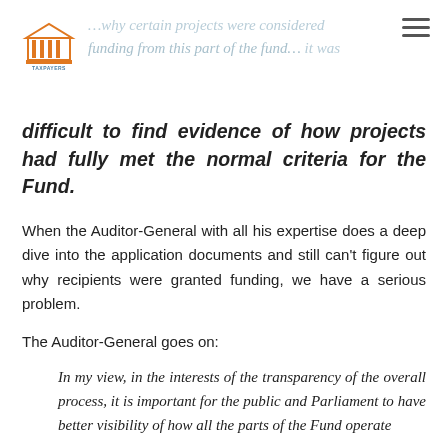[Figure (logo): Taxpayers Union logo — building/columns icon with 'TAXPAYERS UNION' text below]
…why certain projects were considered funding from this part of the fund… difficult to find evidence of how projects had fully met the normal criteria for the Fund.
When the Auditor-General with all his expertise does a deep dive into the application documents and still can't figure out why recipients were granted funding, we have a serious problem.
The Auditor-General goes on:
In my view, in the interests of the transparency of the overall process, it is important for the public and Parliament to have better visibility of how all the parts of the Fund operate
We couldn't agree more. Post COVID-19, every